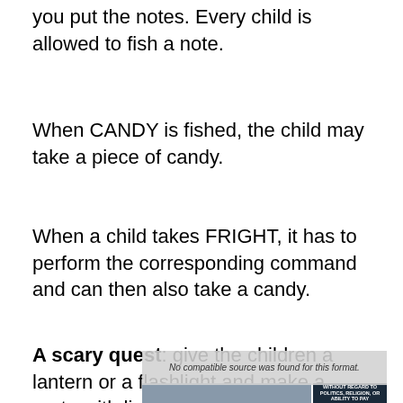you put the notes. Every child is allowed to fish a note.
When CANDY is fished, the child may take a piece of candy.
When a child takes FRIGHT, it has to perform the corresponding command and can then also take a candy.
A scary quest: give the children a lantern or a flashlight and make a route with lights.
[Figure (photo): Embedded video/ad overlay showing an airplane being loaded with cargo, with a dark banner reading 'WITHOUT REGARD TO' and a 'No compatible source was found for this format.' message overlay.]